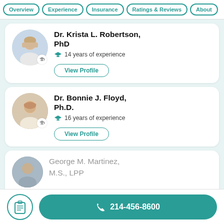Overview | Experience | Insurance | Ratings & Reviews | About
Dr. Krista L. Robertson, PhD · 14 years of experience
Dr. Bonnie J. Floyd, Ph.D. · 16 years of experience
George M. Martinez, M.S., LPP
214-456-8600